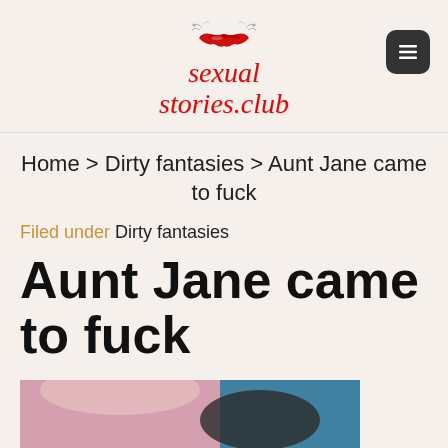sexual stories.club
Home > Dirty fantasies > Aunt Jane came to fuck
Filed under Dirty fantasies
Aunt Jane came to fuck
[Figure (photo): Partial photo of a woman visible at the bottom of the page]